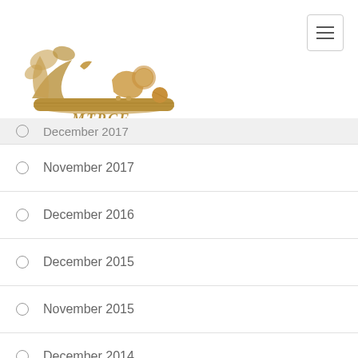[Figure (logo): MTRCF logo with animals on a log, golden-brown illustrated style with stylized lettering below]
December 2017
November 2017
December 2016
December 2015
November 2015
December 2014
November 2014